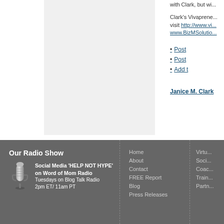[Figure (photo): Gray/light image placeholder area on the left side of the main content]
with Clark, but wi...
Clark's Vivapreneurs visit http://www.vi... www.BizMSolutio...
Post
Post
Add t
Janice M. Clark
Our Radio Show
Social Media 'HELP NOT HYPE' on Word of Mom Radio
Tuesdays on Blog Talk Radio
2pm ET/ 11am PT
Home
About
Contact
FREE Report
Blog
Press Releases
Virtu...
Soci...
Coac...
Train...
Partn...